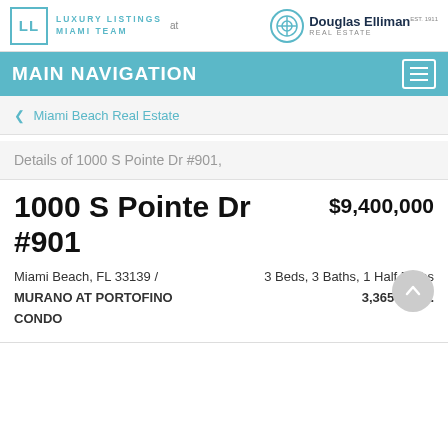LL LUXURY LISTINGS MIAMI TEAM at Douglas Elliman Real Estate
MAIN NAVIGATION
Miami Beach Real Estate
Details of 1000 S Pointe Dr #901,
1000 S Pointe Dr #901
$9,400,000
Miami Beach, FL 33139 /
3 Beds, 3 Baths, 1 Half Baths
MURANO AT PORTOFINO
3,365 Sq.Ft.
CONDO